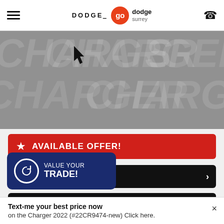DODGE / go dodge surrey
[Figure (photo): Gray textured background with large italic 'CHARGER' letters repeated in a light watermark pattern, with a mouse cursor visible]
★ AVAILABLE OFFER!
Your FREE Credit Score! ›
Our Finance Offers! ›
Payments! ›
Value Your Trade! ›
[Figure (infographic): Blue popup overlay: circular sync icon with VALUE YOUR TRADE! text]
Text-me your best price now on the Charger 2022 (#22CR9474-new) Click here.